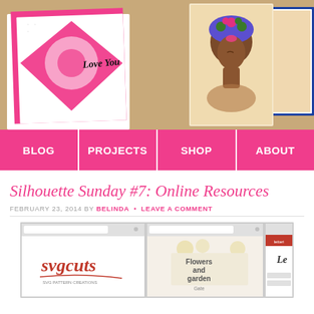[Figure (photo): Header photo showing handmade craft cards on a table: a pink and white floral laser-cut card saying 'Love You' and a portrait illustration card of a woman with a floral headwrap]
[Figure (infographic): Pink navigation bar with four menu items: BLOG, PROJECTS, SHOP, ABOUT]
Silhouette Sunday #7: Online Resources
FEBRUARY 23, 2014 BY BELINDA • LEAVE A COMMENT
[Figure (screenshot): Screenshot showing three browser windows: SVGcuts.com website, a page showing 'Flowers and garden', and a third browser window with lettering/text]